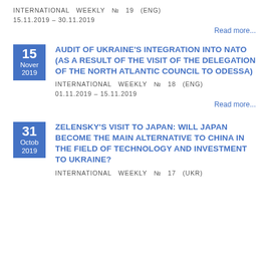INTERNATIONAL WEEKLY № 19 (ENG)
15.11.2019 – 30.11.2019
Read more...
AUDIT OF UKRAINE'S INTEGRATION INTO NATO (AS A RESULT OF THE VISIT OF THE DELEGATION OF THE NORTH ATLANTIC COUNCIL TO ODESSA)
INTERNATIONAL WEEKLY № 18 (ENG)
01.11.2019 – 15.11.2019
Read more...
ZELENSKY'S VISIT TO JAPAN: WILL JAPAN BECOME THE MAIN ALTERNATIVE TO CHINA IN THE FIELD OF TECHNOLOGY AND INVESTMENT TO UKRAINE?
INTERNATIONAL WEEKLY № 17 (UKR)